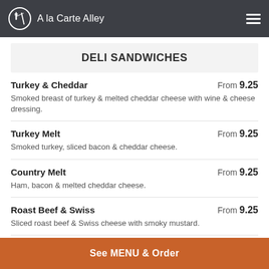A la Carte Alley
DELI SANDWICHES
Turkey & Cheddar — From 9.25 — Smoked breast of turkey & melted cheddar cheese with wine & cheese dressing.
Turkey Melt — From 9.25 — Smoked turkey, sliced bacon & cheddar cheese.
Country Melt — From 9.25 — Ham, bacon & melted cheddar cheese.
Roast Beef & Swiss — From 9.25 — Sliced roast beef & Swiss cheese with smoky mustard.
See MENU & Order